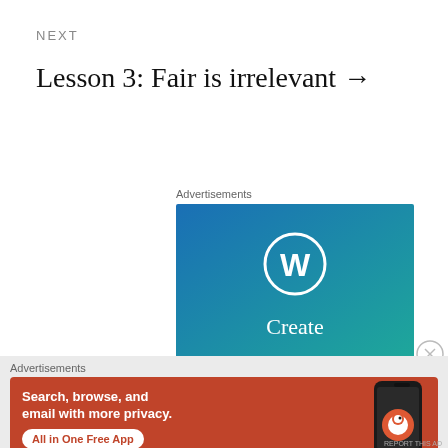NEXT
Lesson 3: Fair is irrelevant →
Advertisements
[Figure (screenshot): WordPress advertisement with blue gradient background showing the WordPress logo (W in a circle) and the word 'Create' in white text]
[Figure (screenshot): DuckDuckGo advertisement on orange/red background showing 'Search, browse, and email with more privacy. All in One Free App' with a smartphone image and DuckDuckGo logo]
Advertisements